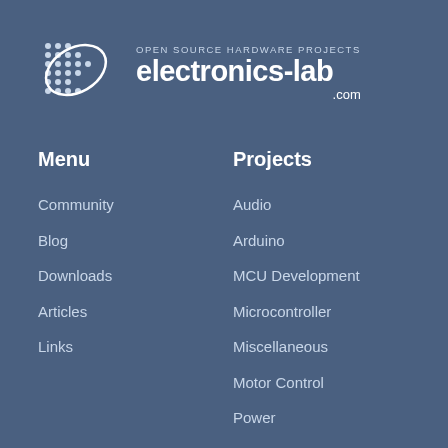[Figure (logo): Electronics-lab.com logo with dot-matrix circuit board icon and text 'OPEN SOURCE HARDWARE PROJECTS electronics-lab.com']
Menu
Projects
Community
Blog
Downloads
Articles
Links
Audio
Arduino
MCU Development
Microcontroller
Miscellaneous
Motor Control
Power
Light – Power Control
Oscillators – Timers